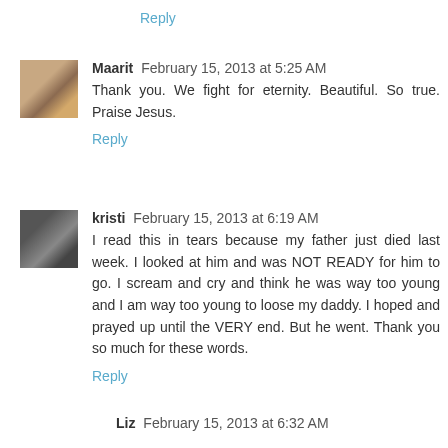Reply
Maarit  February 15, 2013 at 5:25 AM
Thank you. We fight for eternity. Beautiful. So true. Praise Jesus.
Reply
kristi  February 15, 2013 at 6:19 AM
I read this in tears because my father just died last week. I looked at him and was NOT READY for him to go. I scream and cry and think he was way too young and I am way too young to loose my daddy. I hoped and prayed up until the VERY end. But he went. Thank you so much for these words.
Reply
Liz  February 15, 2013 at 6:32 AM